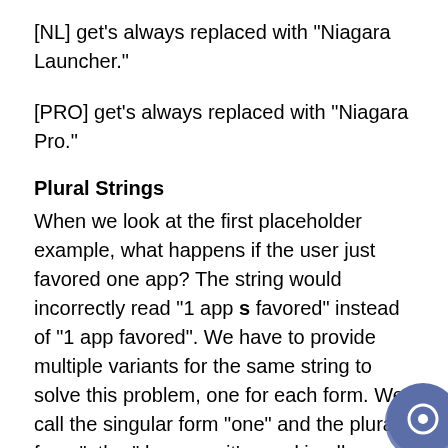[NL] get's always replaced with "Niagara Launcher."
[PRO] get's always replaced with "Niagara Pro."
Plural Strings
When we look at the first placeholder example, what happens if the user just favored one app? The string would incorrectly read "1 app s favored" instead of "1 app favored". We have to provide multiple variants for the same string to solve this problem, one for each form. We call the singular form "one" and the plural form "other" because it's used in all cases where the quantity is not on Depending on the language you translat may even have multiple plural forms. If you're